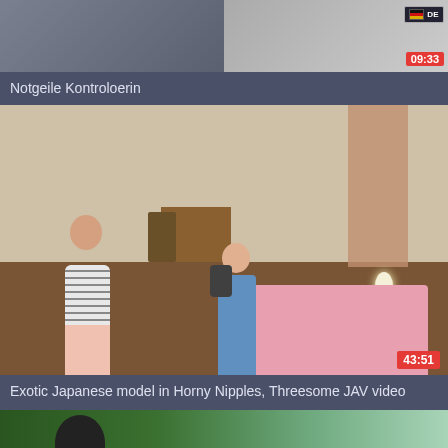[Figure (screenshot): Partial video thumbnail at top of page, cropped, showing two side-by-side frames with a duration badge reading 09:33]
Notgeile Kontroloerin
[Figure (screenshot): Video thumbnail showing a room scene with two people, duration badge reading 43:51]
Exotic Japanese model in Horny Nipples, Threesome JAV video
[Figure (screenshot): Partial video thumbnail at bottom of page, cropped, showing an outdoor green scene]